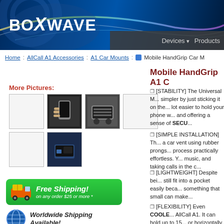[Figure (screenshot): BoxWave website header with logo and navigation bar showing Devices and Products]
Home : AllCall A1 Accessories : A1 Car Mounts : Mobile HandGrip Car M
Mobile HandGrip A1 C
More Pictures:
[Figure (photo): Thumbnail images of the Mobile HandGrip product]
[Figure (illustration): Free Shipping on any order $25 or more banner]
[Figure (illustration): Worldwide Shipping Available icon and text]
[STABILITY] The Universal M... simpler by just sticking it on the... lot easier to hold your phone w... and offering a sense of SECU...
[SIMPLE INSTALLATION] Th... a car vent using rubber prongs... process practically effortless. Y... music, and taking calls in the c...
[LIGHTWEIGHT] Despite bei... still fit into a pocket easily beca... something that small can make...
[FLEXIBILITY] Even COOLE... AllCall A1. It can hold up to 15... or horizontally, offering differe...